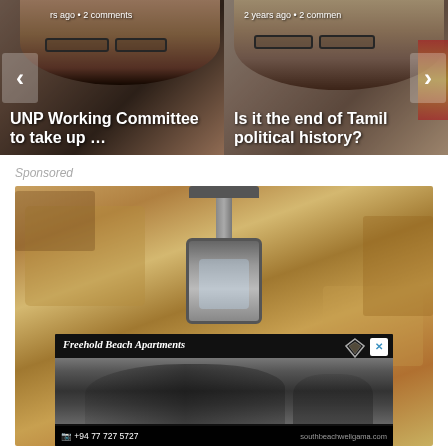[Figure (photo): Carousel with two news article thumbnails. Left: photo of man in glasses with headline 'UNP Working Committee to take up …' with metadata 'rs ago • 2 comments'. Right: photo of man in glasses with headline 'Is it the end of Tamil political history?' with metadata '2 years ago • 2 comments'. Navigation arrows on sides.]
Sponsored
[Figure (photo): Sponsored advertisement image showing outdoor lantern/wall background with overlay ad banner for 'Freehold Beach Apartments' with phone +94 77 727 5727 and website southbeachweligama.com. Black and white photo of person in ad. Diamond/gem logo. Close X button.]